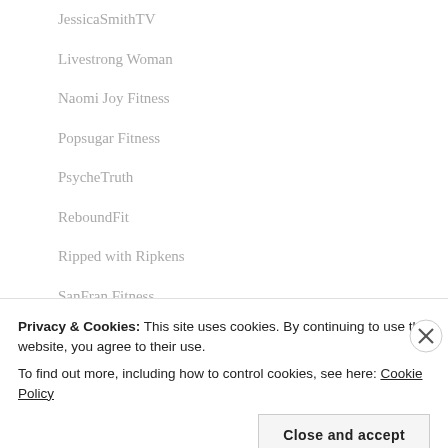JessicaSmithTV
Livestrong Woman
Naomi Joy Fitness
Popsugar Fitness
PsycheTruth
ReboundFit
Ripped with Ripkens
SanFran Fitness
SaraBethYoga
Stylecraze Fitness
Privacy & Cookies: This site uses cookies. By continuing to use this website, you agree to their use.
To find out more, including how to control cookies, see here: Cookie Policy